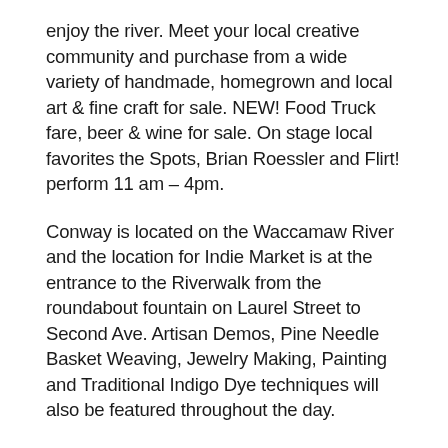enjoy the river. Meet your local creative community and purchase from a wide variety of handmade, homegrown and local art & fine craft for sale. NEW! Food Truck fare, beer & wine for sale. On stage local favorites the Spots, Brian Roessler and Flirt! perform 11 am – 4pm.
Conway is located on the Waccamaw River and the location for Indie Market is at the entrance to the Riverwalk from the roundabout fountain on Laurel Street to Second Ave. Artisan Demos, Pine Needle Basket Weaving, Jewelry Making, Painting and Traditional Indigo Dye techniques will also be featured throughout the day.
Conway bubbles up with creativity at the Indie Market with a variety of goods for sale from over 50 local artists, artisans, designers, and vintage makers. You'll find handmade soaps and candles, precious glass and pottery, handcrafted pine needle baskets, colorful fibers, beautiful jewelry, healthful holistic products, delicious cuisine, local